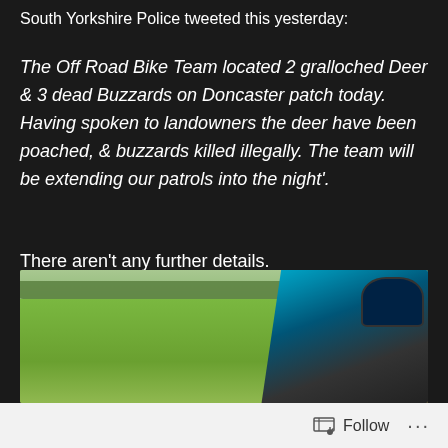South Yorkshire Police tweeted this yesterday:
The Off Road Bike Team located 2 gralloched Deer & 3 dead Buzzards on Doncaster patch today. Having spoken to landowners the deer have been poached, & buzzards killed illegally. The team will be extending our patrols into the night'.
There aren't any further details.
[Figure (photo): A photo showing a green grass field with trees in the background and a blue off-road motorcycle visible on the right side, parked on a dirt path.]
Follow ...